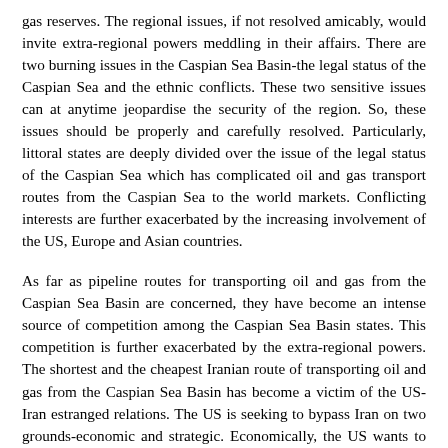gas reserves. The regional issues, if not resolved amicably, would invite extra-regional powers meddling in their affairs. There are two burning issues in the Caspian Sea Basin-the legal status of the Caspian Sea and the ethnic conflicts. These two sensitive issues can at anytime jeopardise the security of the region. So, these issues should be properly and carefully resolved. Particularly, littoral states are deeply divided over the issue of the legal status of the Caspian Sea which has complicated oil and gas transport routes from the Caspian Sea to the world markets. Conflicting interests are further exacerbated by the increasing involvement of the US, Europe and Asian countries.
As far as pipeline routes for transporting oil and gas from the Caspian Sea Basin are concerned, they have become an intense source of competition among the Caspian Sea Basin states. This competition is further exacerbated by the extra-regional powers. The shortest and the cheapest Iranian route of transporting oil and gas from the Caspian Sea Basin has become a victim of the US-Iran estranged relations. The US is seeking to bypass Iran on two grounds-economic and strategic. Economically, the US wants to see a weak Iran which would not challenge the US interests in the region and elsewhere. Strategically, the US does not want to increase its energy dependence on the Persian Gulf through passing oil and gas routes over Iranian territories. However, the US should not ignore the shortest, cheapest Iranian routes and consider